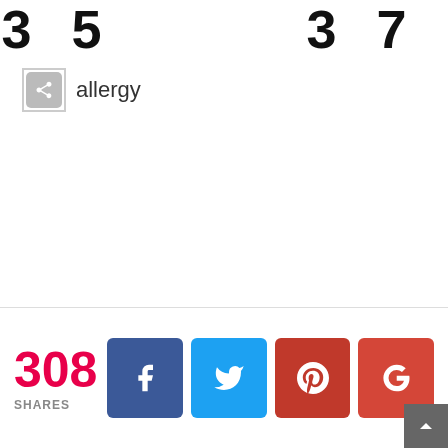35  37
[Figure (other): Share button icon (grey rounded square with less-than arrow) followed by the word 'allergy']
308 SHARES — Facebook, Twitter, Pinterest, Google+ share buttons